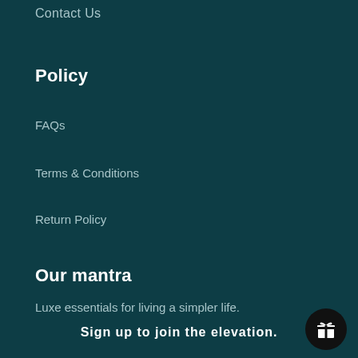Contact Us
Policy
FAQs
Terms & Conditions
Return Policy
Our mantra
Luxe essentials for living a simpler life.
Sign up to join the elevation.
[Figure (illustration): Gift box icon on a circular black button in the bottom right corner]